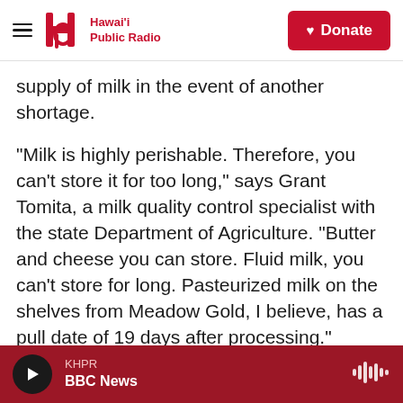Hawai'i Public Radio — Donate
supply of milk in the event of another shortage.
"Milk is highly perishable. Therefore, you can't store it for too long," says Grant Tomita, a milk quality control specialist with the state Department of Agriculture. "Butter and cheese you can store. Fluid milk, you can't store for long. Pasteurized milk on the shelves from Meadow Gold, I believe, has a pull date of 19 days after processing."
The shortage also highlighted the importance for the state to increase its local food production. But for dairies, there are several challenges.
KHPR — BBC News